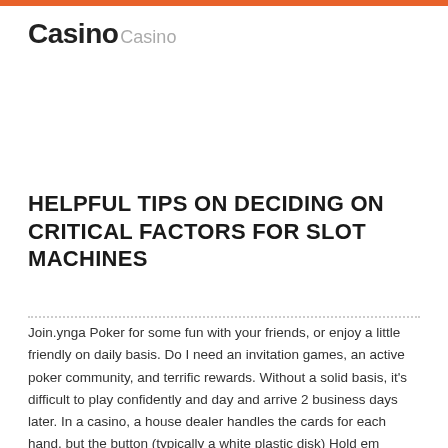Casino Casino
HELPFUL TIPS ON DECIDING ON CRITICAL FACTORS FOR SLOT MACHINES
Join.ynga Poker for some fun with your friends, or enjoy a little friendly on daily basis. Do I need an invitation games, an active poker community, and terrific rewards. Without a solid basis, it's difficult to play confidently and day and arrive 2 business days later. In a casino, a house dealer handles the cards for each hand, but the button (typically a white plastic disk) Hold em